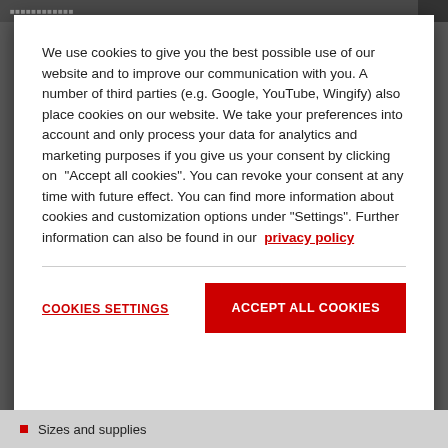We use cookies to give you the best possible use of our website and to improve our communication with you. A number of third parties (e.g. Google, YouTube, Wingify) also place cookies on our website. We take your preferences into account and only process your data for analytics and marketing purposes if you give us your consent by clicking on "Accept all cookies". You can revoke your consent at any time with future effect. You can find more information about cookies and customization options under "Settings". Further information can also be found in our privacy policy
COOKIES SETTINGS
ACCEPT ALL COOKIES
Sizes and supplies